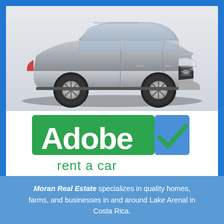[Figure (photo): Silver Hyundai Tucson SUV photographed from a front three-quarter angle on a white/light grey background.]
[Figure (logo): Adobe Rent a Car logo: green rectangle background with white text 'Adobe' and a blue square containing a green checkmark, with green text 'rent a car' below.]
Moran Real Estate specializes in quality homes, farms, and businesses in and around Lake Arenal in Costa Rica.